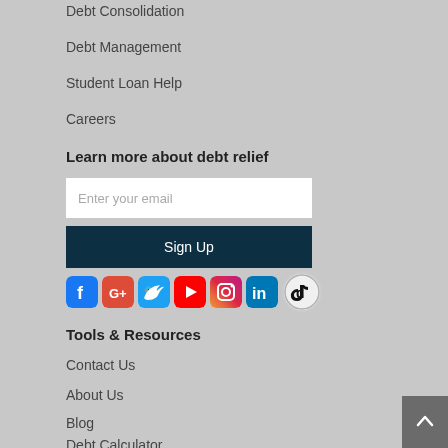Debt Consolidation
Debt Management
Student Loan Help
Careers
Learn more about debt relief
Enter your email
Sign Up
[Figure (other): Social media icons: Facebook, Google+, Twitter, YouTube, Instagram, LinkedIn, TikTok]
Tools & Resources
Contact Us
About Us
Blog
Debt Calculator